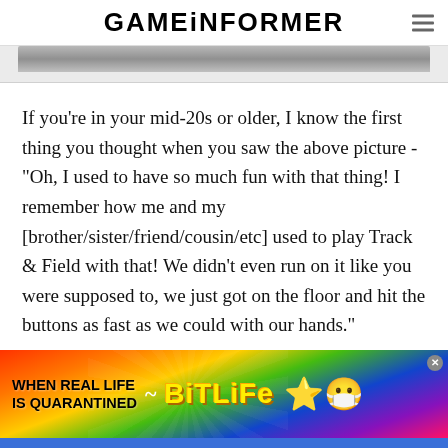GAMEINFORMER
[Figure (photo): Partial view of a gaming peripheral or mat, cropped at top of page]
If you're in your mid-20s or older, I know the first thing you thought when you saw the above picture - "Oh, I used to have so much fun with that thing! I remember how me and my [brother/sister/friend/cousin/etc] used to play Track & Field with that! We didn't even run on it like you were supposed to, we just got on the floor and hit the buttons as fast as we could with our hands."
[Figure (advertisement): BitLife advertisement banner with rainbow background, text: WHEN REAL LIFE IS QUARANTINED, BitLife logo with star characters and coin]
SHARE  FOLLOW US